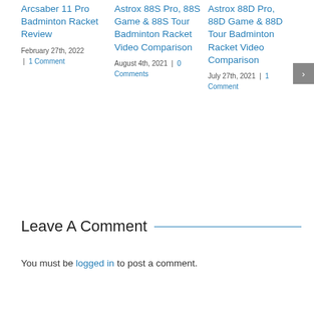Arcsaber 11 Pro Badminton Racket Review
February 27th, 2022 | 1 Comment
Astrox 88S Pro, 88S Game & 88S Tour Badminton Racket Video Comparison
August 4th, 2021 | 0 Comments
Astrox 88D Pro, 88D Game & 88D Tour Badminton Racket Video Comparison
July 27th, 2021 | 1 Comment
Leave A Comment
You must be logged in to post a comment.